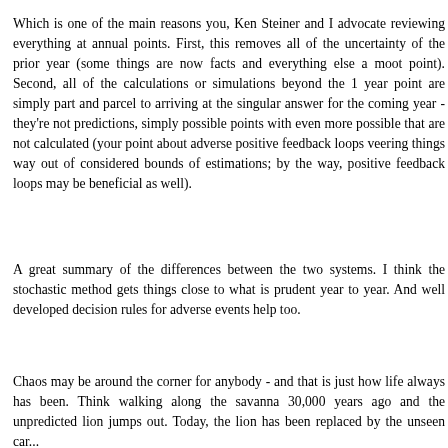Which is one of the main reasons you, Ken Steiner and I advocate reviewing everything at annual points. First, this removes all of the uncertainty of the prior year (some things are now facts and everything else a moot point). Second, all of the calculations or simulations beyond the 1 year point are simply part and parcel to arriving at the singular answer for the coming year - they're not predictions, simply possible points with even more possible that are not calculated (your point about adverse positive feedback loops veering things way out of considered bounds of estimations; by the way, positive feedback loops may be beneficial as well).
A great summary of the differences between the two systems. I think the stochastic method gets things close to what is prudent year to year. And well developed decision rules for adverse events help too.
Chaos may be around the corner for anybody - and that is just how life always has been. Think walking along the savanna 30,000 years ago and the unpredicted lion jumps out. Today, the lion has been replaced by the unseen car...